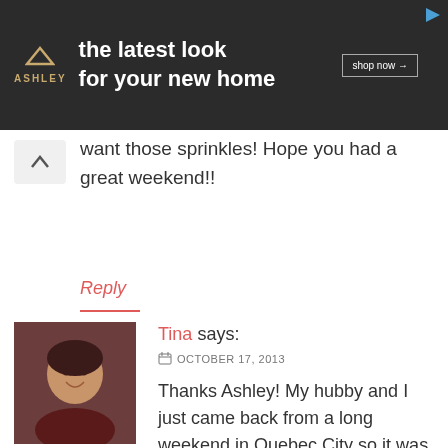[Figure (other): Ashley Furniture advertisement banner with dark background, Ashley logo with house icon, tagline 'the latest look for your new home', and 'shop now' button]
want those sprinkles! Hope you had a great weekend!!
Reply
[Figure (photo): Profile photo of Tina, a woman with dark hair and earrings, smiling]
Tina says:
OCTOBER 17, 2013
Thanks Ashley! My hubby and I just came back from a long weekend in Quebec City so it was an awesome weekend. 🙂
Reply